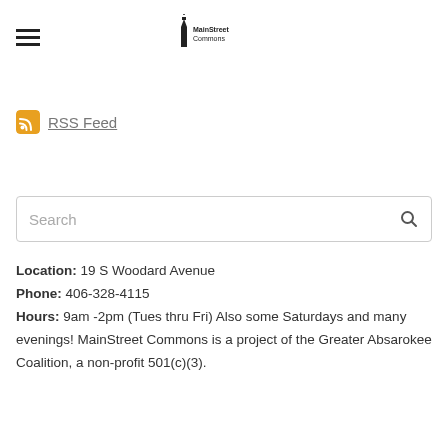≡  MainStreet Commons logo
[Figure (logo): MainStreet Commons logo with lighthouse icon and text]
RSS Feed
Location: 19 S Woodard Avenue
Phone: 406-328-4115
Hours: 9am -2pm (Tues thru Fri) Also some Saturdays and many evenings! MainStreet Commons is a project of the Greater Absarokee Coalition, a non-profit 501(c)(3).